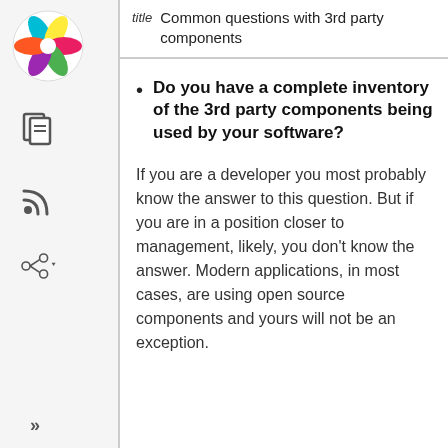[Figure (logo): Colorful pinwheel/flower logo in top-left sidebar]
Common questions with 3rd party components
Do you have a complete inventory of the 3rd party components being used by your software?
If you are a developer you most probably know the answer to this question. But if you are in a position closer to management, likely, you don't know the answer. Modern applications, in most cases, are using open source components and yours will not be an exception.